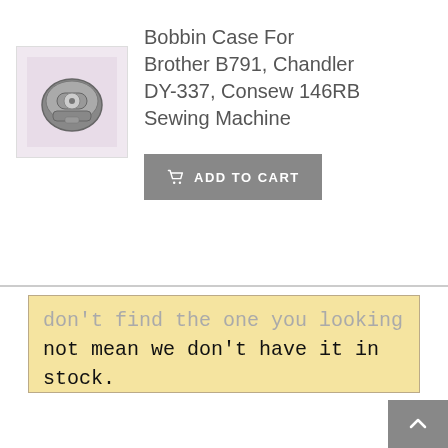[Figure (photo): Small product photo of a bobbin case, metallic grey, on a light purple/pink background]
Bobbin Case For Brother B791, Chandler DY-337, Consew 146RB Sewing Machine
ADD TO CART (button)
…don't find the one you looking for, it does not mean we don't have it in stock. Please let us know machine builders' reference numbers and/or machine make & model and we will find one for you.